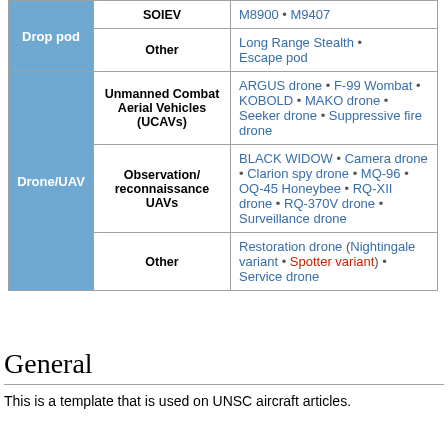| Category | Subcategory | Items |
| --- | --- | --- |
| Drop pod | SOIEV | M8900 • M9407 |
| Drop pod | Other | Long Range Stealth • Escape pod |
| Drone/UAV | Unmanned Combat Aerial Vehicles (UCAVs) | ARGUS drone • F-99 Wombat • KOBOLD • MAKO drone • Seeker drone • Suppressive fire drone |
| Drone/UAV | Observation/reconnaissance UAVs | BLACK WIDOW • Camera drone • Clarion spy drone • MQ-96 • OQ-45 Honeybee • RQ-XII drone • RQ-370V drone • Surveillance drone |
| Drone/UAV | Other | Restoration drone (Nightingale variant • Spotter variant) • Service drone |
General
This is a template that is used on UNSC aircraft articles.